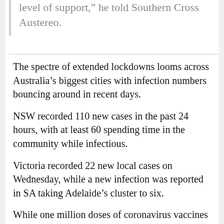level of support,” he told Southern Cross Austereo.
The spectre of extended lockdowns looms across Australia’s biggest cities with infection numbers bouncing around in recent days.
NSW recorded 110 new cases in the past 24 hours, with at least 60 spending time in the community while infectious.
Victoria recorded 22 new local cases on Wednesday, while a new infection was reported in SA taking Adelaide’s cluster to six.
While one million doses of coronavirus vaccines were administered in the past week, Mr Morrison is under sustained pressure about the rollout's pace.
Mr Morrison said the Delta strain was a big test for Australia but acknowledged the immunisation